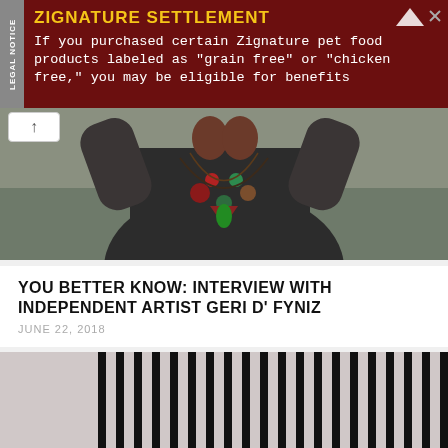[Figure (other): Advertisement banner: dark red background with 'ZIGNATURE SETTLEMENT' in yellow bold text and white body text about pet food products. Has a 'LEGAL NOTICE' sidebar label in grey.]
[Figure (photo): Cropped photo of a person wearing a dark hoodie and colorful beaded necklaces with red, green, and brown pendants, arms raised near their face.]
YOU BETTER KNOW: INTERVIEW WITH INDEPENDENT ARTIST GERI D' FYNIZ
JUNE 22, 2018
[Figure (photo): Photo of a man in a black t-shirt with a white star/sun graphic and a black cap, standing in front of a wall with vertical black and white stripes, kneeling on one knee with hands clasped.]